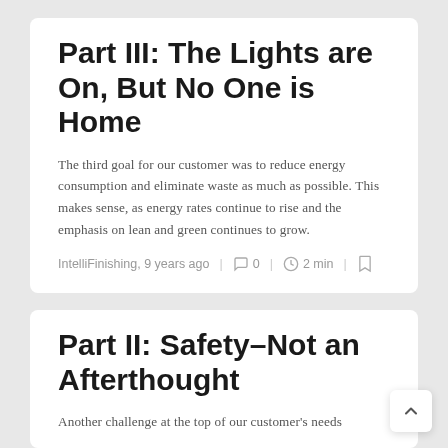Part III: The Lights are On, But No One is Home
The third goal for our customer was to reduce energy consumption and eliminate waste as much as possible. This makes sense, as energy rates continue to rise and the emphasis on lean and green continues to grow.
IntelliFinishing, 9 years ago | 0 | 2 min |
Part II: Safety–Not an Afterthought
Another challenge at the top of our customer's needs